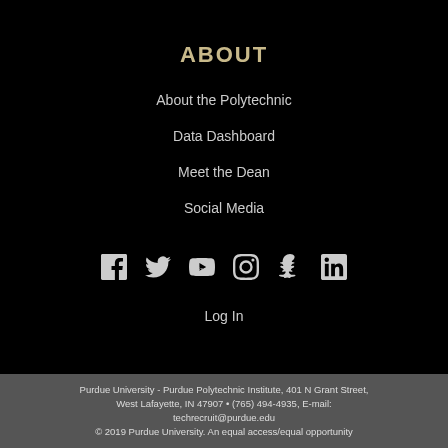ABOUT
About the Polytechnic
Data Dashboard
Meet the Dean
Social Media
[Figure (infographic): Social media icons: Facebook, Twitter, YouTube, Instagram, Snapchat, LinkedIn]
Log In
Purdue University - Purdue Polytechnic Institute, 401 N Grant Street, West Lafayette, IN 47907 • (765) 494-4935, E-mail: techrecruit@purdue.edu
© 2019 Purdue University. An equal access/equal opportunity